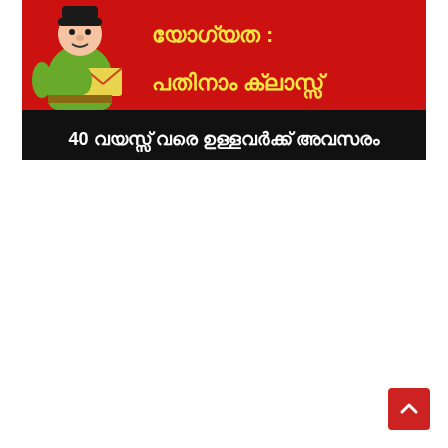[Figure (illustration): Malayalam language job advertisement banner. Shows a cartoon postman/government officer in green uniform holding an envelope on the left. Red background with yellow Malayalam text at the top reading 'യോഗ്യത : പതിനാം ക്ലാസ്സ്' and a black banner below with white Malayalam text '40 വയസ്സ് വരെ ഉള്ളവർക്ക് അവസരം']